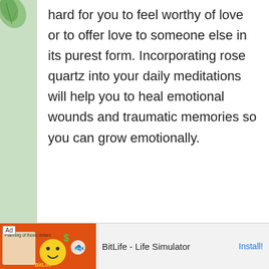When your heart chakra is blocked or closed, it's hard for you to feel worthy of love or to offer love to someone else in its purest form. Incorporating rose quartz into your daily meditations will help you to heal emotional wounds and traumatic memories so you can grow emotionally.
[Figure (photo): A pink/rose quartz crystal sphere (ball) on a white background, with a glossy highlight and a dark base shadow. The sphere has a translucent pink-purple color.]
[Figure (screenshot): Advertisement banner for BitLife - Life Simulator app, with an orange background showing a smiley face emoji and a sperm cell emoji icon. Text reads 'Ad', 'BitLife - Life Simulator', and 'Install!']